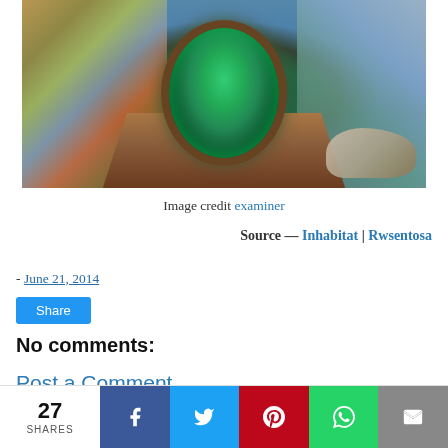[Figure (photo): Underwater aquarium tunnel view showing coral reef, green glowing tunnel arch, fish, and a dinosaur skull on the right side, with railway-like tracks leading into the tunnel]
Image credit examiner
Source — Inhabitat | Rwsentosa
- June 21, 2014
Share
No comments:
Post a Comment
27 SHARES